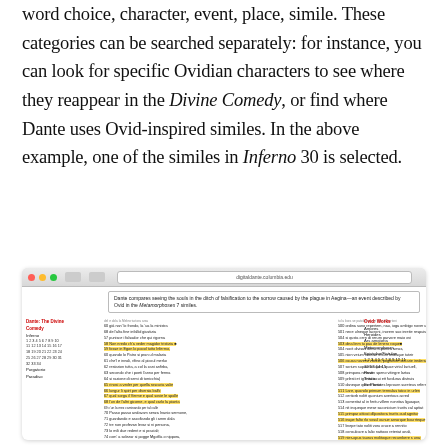word choice, character, event, place, simile. These categories can be searched separately: for instance, you can look for specific Ovidian characters to see where they reappear in the Divine Comedy, or find where Dante uses Ovid-inspired similes. In the above example, one of the similes in Inferno 30 is selected.
[Figure (screenshot): Browser screenshot showing the digitaldante.columbia.edu interface with highlighted text in two columns comparing Dante's Divine Comedy (Inferno) with Ovid's Works. Yellow highlights indicate matched similes. Left panel shows 'Dante: The Divine Comedy, Inferno' with canto numbers. Right panel shows 'Ovid: Works' with titles like Amores, Heroides, Ars amatoria, Metamorphoses, Epistulae/Fasti/Tristia/Ex Ponto. A tooltip at top reads: 'Dante compares seeing the souls in the ditch of falsification to the sorrow caused by the plague in Aegina—an event described by Ovid in the Metamorphoses 7 similes.']